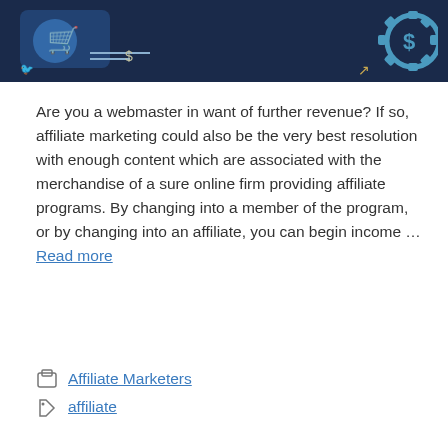[Figure (illustration): Dark blue banner image with affiliate/money themed icons including a gear with a dollar sign on the right side and a shopping cart or money icon on the left, with some decorative elements.]
Are you a webmaster in want of further revenue? If so, affiliate marketing could also be the very best resolution with enough content which are associated with the merchandise of a sure online firm providing affiliate programs. By changing into a member of the program, or by changing into an affiliate, you can begin income … Read more
Affiliate Marketers
affiliate